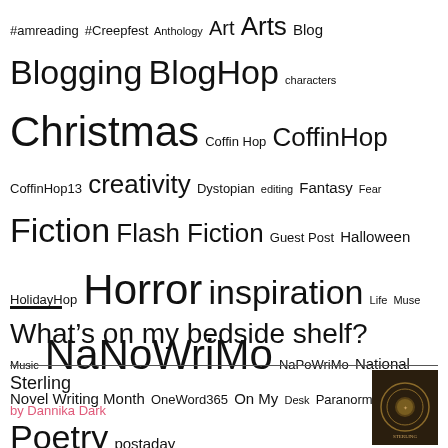#amreading #Creepfest Anthology Art Arts Blog Blogging BlogHop characters Christmas Coffin Hop CoffinHop CoffinHop13 creativity Dystopian editing Fantasy Fear Fiction Flash Fiction Guest Post Halloween HolidayHop Horror inspiration Life Muse Music NaNoWriMo NaPoWriMo National Novel Writing Month OneWord365 On My Desk Paranormal Poetry postaday postaday2011 postaweek2011 Productivity Publishing Reading WIP Word of the year WordPress Writer writer resources Writers writers on writing Writers Resources writing
What’s on my bedside shelf?
Sterling
by Dannika Dark
[Figure (photo): Book cover thumbnail, dark background with decorative circular motif]